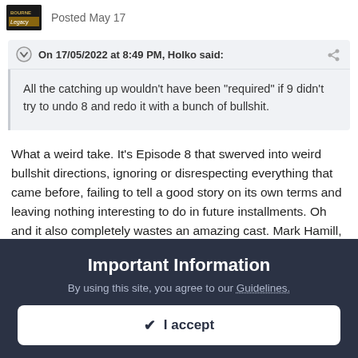Posted May 17
On 17/05/2022 at 8:49 PM, Holko said:
All the catching up wouldn't have been "required" if 9 didn't try to undo 8 and redo it with a bunch of bullshit.
What a weird take. It's Episode 8 that swerved into weird bullshit directions, ignoring or disrespecting everything that came before, failing to tell a good story on its own terms and leaving nothing interesting to do in future installments. Oh and it also completely wastes an amazing cast. Mark Hamill, Daisy Ridley, John Boyega, Oscar Isaac, Adam Driver, Gwendoline Christie, Laura Dern and Andy Serkis all could have done amazing things with a screenplay that gave them literally anything interesting to do. But no. Each
Important Information
By using this site, you agree to our Guidelines.
✔ I accept